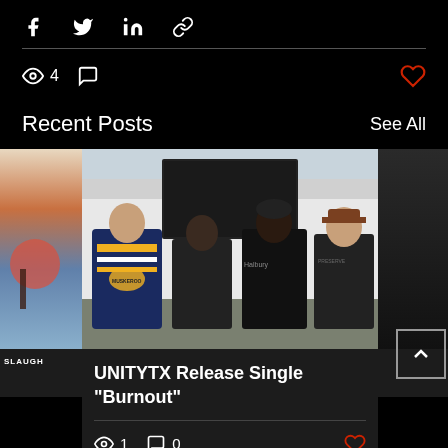[Figure (screenshot): Social share icons: Facebook, Twitter, LinkedIn, Link]
4
Recent Posts
See All
[Figure (photo): Four men standing in front of a van, wearing black t-shirts and a hockey jersey]
UNITYTX Release Single "Burnout"
1   0